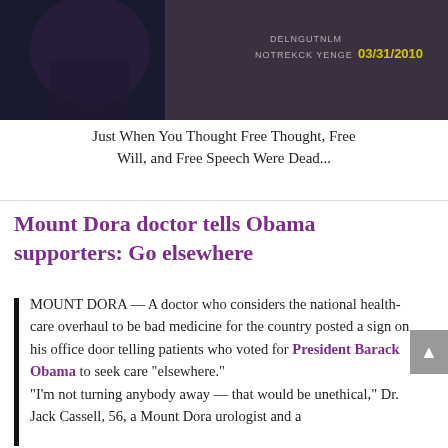[Figure (photo): Dark background image with text overlaid: date stamp 03/31/2010 in yellow, and faint text lines. Top portion shows what appears to be a dark photo with some text.]
Just When You Thought Free Thought, Free Will, and Free Speech Were Dead...
Mount Dora doctor tells Obama supporters: Go elsewhere
MOUNT DORA — A doctor who considers the national health-care overhaul to be bad medicine for the country posted a sign on his office door telling patients who voted for President Barack Obama to seek care “elsewhere.”
“I’m not turning anybody away — that would be unethical,” Dr. Jack Cassell, 56, a Mount Dora urologist and a